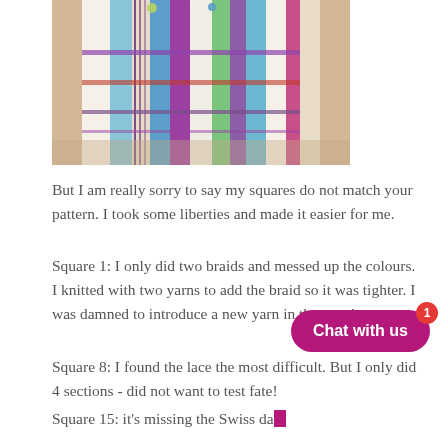[Figure (photo): Partial top photo showing colorful knitted/woven squares or strips with braids in multiple colors including blue, purple, green, pink on a light background.]
But I am really sorry to say my squares do not match your pattern. I took some liberties and made it easier for me.
Square 1: I only did two braids and messed up the colours.  I knitted with two yarns to add the braid so it was tighter. I was damned to introduce a new yarn in that row!
Square 8: I found the lace the most difficult. But I only did 4 sections - did not want to test fate!
Square 15: it's missing the Swiss dar... that. It should follow the pattern. I... this one about 6-7 times. I learned how to rip out stitches and rows on this first one!"